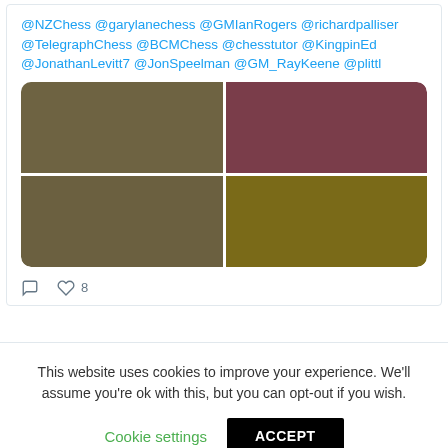@NZChess @garylanechess @GMIanRogers @richardpalliser @TelegraphChess @BCMChess @chesstutor @KingpinEd @JonathanLevitt7 @JonSpeelman @GM_RayKeene @plittl
[Figure (photo): A 2x2 grid of colored image panels: top-left olive/khaki brown, top-right muted burgundy/mauve, bottom-left olive/khaki brown, bottom-right dark olive/golden yellow]
♡ 8
This website uses cookies to improve your experience. We'll assume you're ok with this, but you can opt-out if you wish.
Cookie settings   ACCEPT